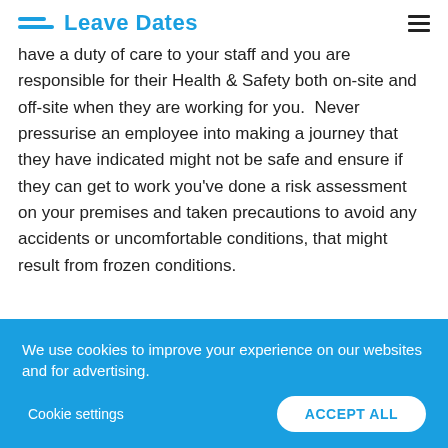Leave Dates
have a duty of care to your staff and you are responsible for their Health & Safety both on-site and off-site when they are working for you. Never pressurise an employee into making a journey that they have indicated might not be safe and ensure if they can get to work you've done a risk assessment on your premises and taken precautions to avoid any accidents or uncomfortable conditions, that might result from frozen conditions.
We use cookies to improve your experience on our websites and for advertising.
Cookie settings
ACCEPT ALL